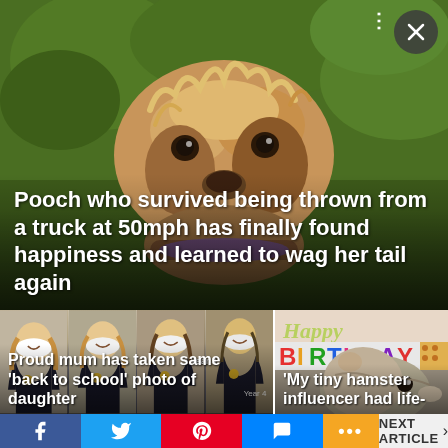[Figure (photo): A scruffy tan and grey terrier dog looking at the camera, with green foliage background]
Pooch who survived being thrown from a truck at 50mph has finally found happiness and learned to wag her tail again
[Figure (photo): Four photos of the same girl at different school years, in school uniform]
Proud mum has taken same 'back to school' photo of daughter
[Figure (photo): A hamster next to a Happy Birthday sign]
'My tiny hamster influencer had life-
Facebook | Twitter | Pinterest | Messenger | More | NEXT ARTICLE >